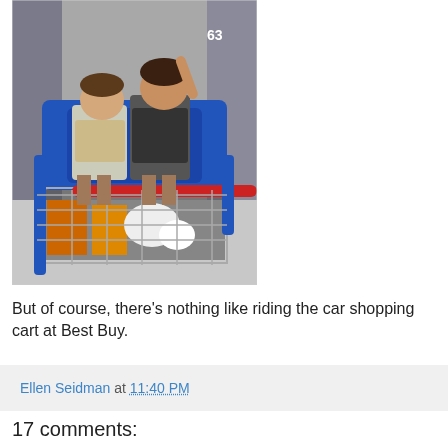[Figure (photo): Two children sitting in a large blue car-shaped shopping cart at Best Buy store. One child is waving with arm raised. The cart basket is loaded with products. Store shelves visible in background.]
But of course, there's nothing like riding the car shopping cart at Best Buy.
Ellen Seidman at 11:40 PM
17 comments: